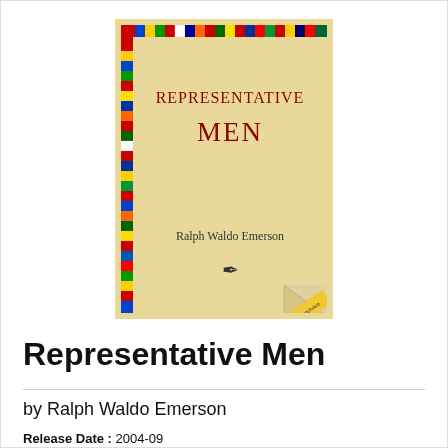[Figure (illustration): Book cover of 'Representative Men' by Ralph Waldo Emerson. The cover features a colorful flag-patterned border around an aged parchment-colored background. The title 'Representative Men' is printed in dark red serif font in small-caps style. Below the title is the author name 'Ralph Waldo Emerson' and a small quill/bird logo. The bottom-right corner has a page-curl effect revealing a publisher label.]
Representative Men
by Ralph Waldo Emerson
Release Date : 2004-09